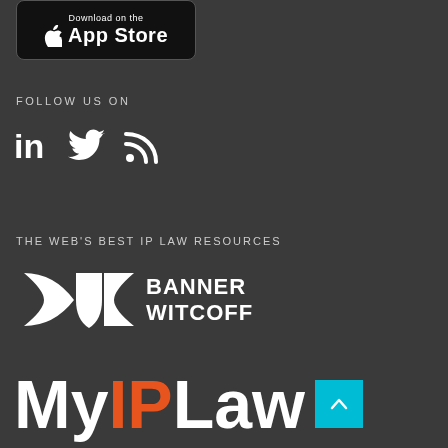[Figure (logo): Download on the App Store button with Apple logo]
FOLLOW US ON
[Figure (logo): LinkedIn, Twitter, and RSS social media icons]
THE WEB'S BEST IP LAW RESOURCES
[Figure (logo): Banner Witcoff logo with geometric shield/butterfly mark and company name]
[Figure (logo): MyIPLaw logo with My in white, IP in orange, Law in white, and cyan scroll-to-top button]